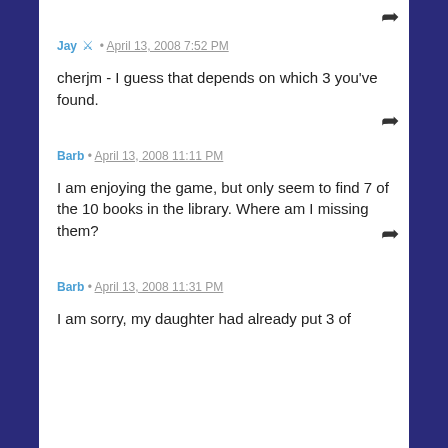Jay • April 13, 2008 7:52 PM
cherjm - I guess that depends on which 3 you've found.
Barb • April 13, 2008 11:11 PM
I am enjoying the game, but only seem to find 7 of the 10 books in the library. Where am I missing them?
Barb • April 13, 2008 11:31 PM
I am sorry, my daughter had already put 3 of